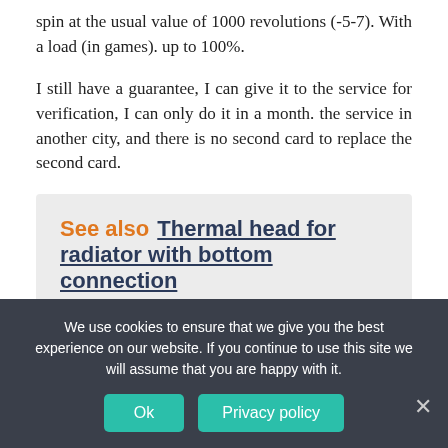spin at the usual value of 1000 revolutions (-5-7). With a load (in games). up to 100%.
I still have a guarantee, I can give it to the service for verification, I can only do it in a month. the service in another city, and there is no second card to replace the second card.
See also  Thermal head for radiator with bottom connection
Could it be some kind of driver mistake, the problem of food?
And she certainly does not cling to the wiring? And then there
We use cookies to ensure that we give you the best experience on our website. If you continue to use this site we will assume that you are happy with it.